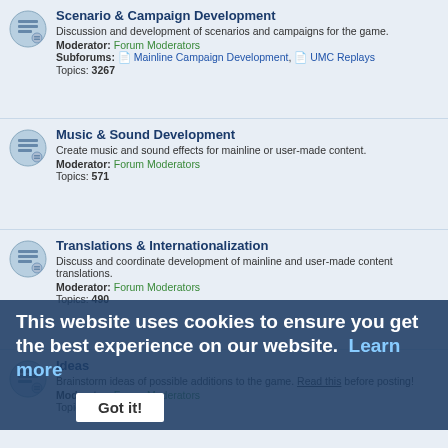Scenario & Campaign Development
Discussion and development of scenarios and campaigns for the game.
Moderator: Forum Moderators
Subforums: Mainline Campaign Development, UMC Replays
Topics: 3267
Music & Sound Development
Create music and sound effects for mainline or user-made content.
Moderator: Forum Moderators
Topics: 571
Translations & Internationalization
Discuss and coordinate development of mainline and user-made content translations.
Moderator: Forum Moderators
Topics: 490
Ideas
Brainstorm ideas of possible additions to the game. Read this before posting!
Moderator: Forum Moderators
Topics: 4328
Coder's Corner
Discussion of all aspects of the game engine, including development of new
Moderator: Forum Moderators
Developers' Discussions
Discussion among members of the development team.
Moderator: Forum Moderators
Subforum: Wesnoth Organizational Updates
Topics: 931
Art Development
This website uses cookies to ensure you get the best experience on our website. Learn more
Got it!